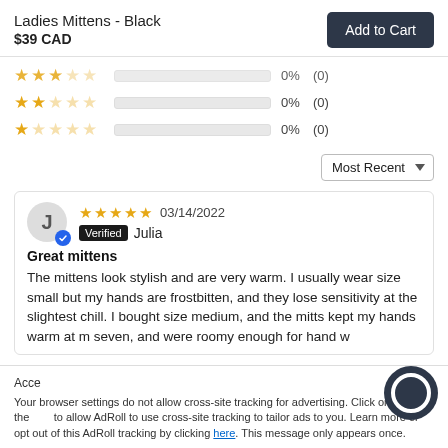Ladies Mittens - Black
$39 CAD
Add to Cart
[Figure (other): Star rating rows: 3-star row showing 0% (0), 2-star row showing 0% (0), 1-star row showing 0% (0), each with empty progress bar]
Most Recent ▼
03/14/2022 — 5 stars — Verified Julia
Great mittens
The mittens look stylish and are very warm. I usually wear size small but my hands are frostbitten, and they lose sensitivity at the slightest chill. I bought size medium, and the mitts kept my hands warm at m seven, and were roomy enough for hand w
Acce × Your browser settings do not allow cross-site tracking for advertising. Click on the to allow AdRoll to use cross-site tracking to tailor ads to you. Learn more or opt out of this AdRoll tracking by clicking here. This message only appears once.